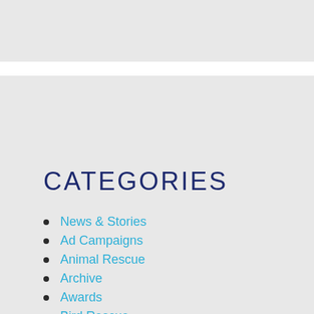[Figure (other): Light gray banner/header image area at the top of the page]
CATEGORIES
News & Stories
Ad Campaigns
Animal Rescue
Archive
Awards
Bird Rescue
Competition
Drowning
Education
Events
Fundraising
Lifeguards
Magazine